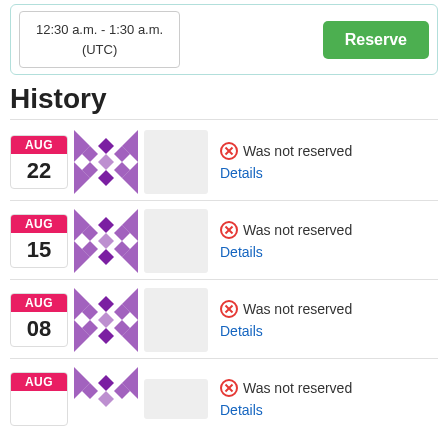12:30 a.m. - 1:30 a.m. (UTC)
History
AUG 22 — Was not reserved — Details
AUG 15 — Was not reserved — Details
AUG 08 — Was not reserved — Details
AUG — Was not reserved — Details